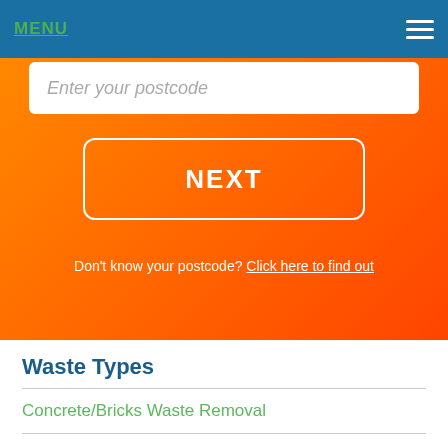MENU
Enter your postcode
NEXT
Don't know your postcode? Click here to find out
Waste Types
Concrete/Bricks Waste Removal
Mixed Waste Removal
General Waste Removal